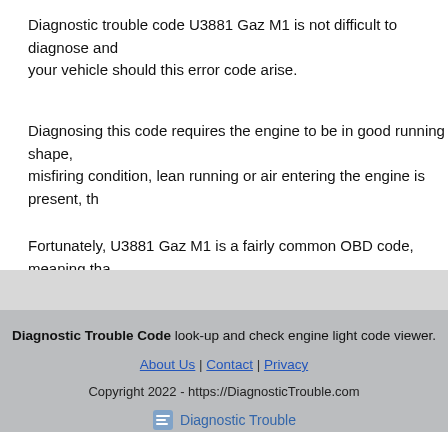Diagnostic trouble code U3881 Gaz M1 is not difficult to diagnose and your vehicle should this error code arise.
Diagnosing this code requires the engine to be in good running shape, misfiring condition, lean running or air entering the engine is present, th
Fortunately, U3881 Gaz M1 is a fairly common OBD code, meaning tha
Diagnostic Trouble Code look-up and check engine light code viewer. About Us | Contact | Privacy Copyright 2022 - https://DiagnosticTrouble.com Diagnostic Trouble